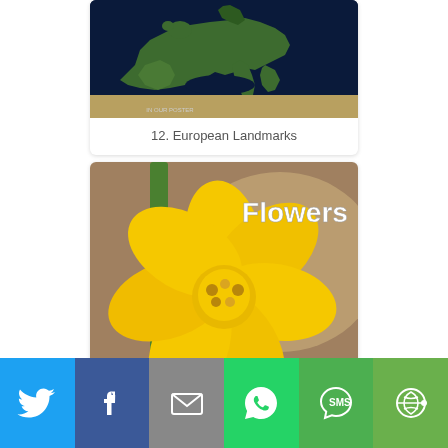[Figure (photo): Satellite view of Europe/Mediterranean from space showing green landmasses and dark blue seas, with text 'IN OUR POSTER' visible at bottom]
12. European Landmarks
[Figure (photo): Close-up photo of a yellow daffodil/narcissus flower with 'Flowers' text in white in top-right corner]
[Figure (infographic): Social sharing bar with Twitter (blue bird), Facebook (blue f), Email (grey envelope), WhatsApp (green phone), SMS (green speech bubble), More (green circular arrows) buttons]